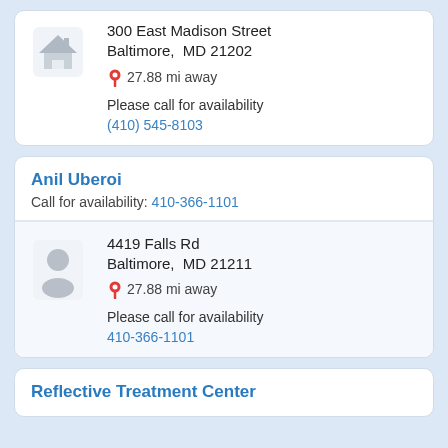300 East Madison Street
Baltimore,  MD 21202
27.88 mi away
Please call for availability
(410) 545-8103
Anil Uberoi
Call for availability: 410-366-1101
4419 Falls Rd
Baltimore,  MD 21211
27.88 mi away
Please call for availability
410-366-1101
Reflective Treatment Center